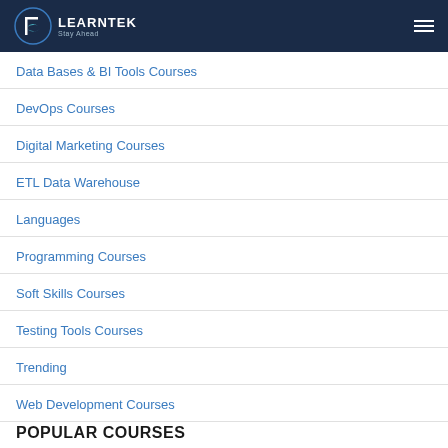[Figure (logo): Learntek logo with circular L icon and Stay Ahead tagline on dark navy background]
Data Bases & BI Tools Courses
DevOps Courses
Digital Marketing Courses
ETL Data Warehouse
Languages
Programming Courses
Soft Skills Courses
Testing Tools Courses
Trending
Web Development Courses
POPULAR COURSES